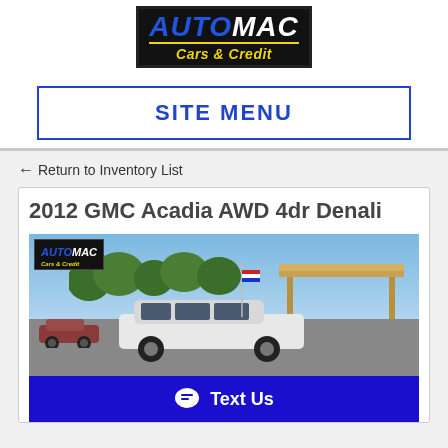[Figure (logo): AutoMac Cars & Credit logo — black background box, blue AUTO white MAC text, yellow Cars & Credit tagline]
SITE MENU
← Return to Inventory List
2012 GMC Acadia AWD 4dr Denali
[Figure (photo): Outdoor photo of a white GMC Acadia SUV on a car lot with an AutoMac Cars & Credit logo overlay in the top left corner]
Text Us